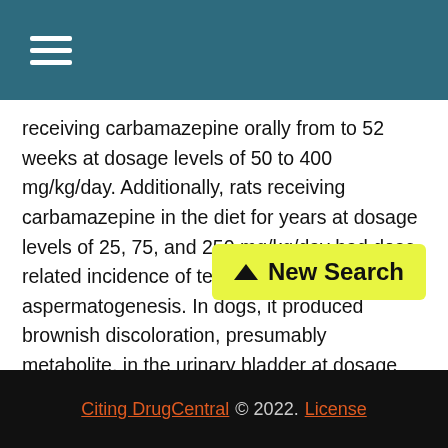≡
receiving carbamazepine orally from to 52 weeks at dosage levels of 50 to 400 mg/kg/day. Additionally, rats receiving carbamazepine in the diet for years at dosage levels of 25, 75, and 250 mg/kg/day had dose-related incidence of testicular atrophy and aspermatogenesis. In dogs, it produced brownish discoloration, presumably metabolite, in the urinary bladder at dosage levels of 50 mg/kg and higher. Relevance of these findings to humans is unknown.Nervous System: Dizziness, drowsiness, disturbances of coordination, confusion, headache, fatigue, blurred vision, visual hallucinations, tr... oculomotor disturbances, nystagmus, speech disturbances,
Citing DrugCentral © 2022. License